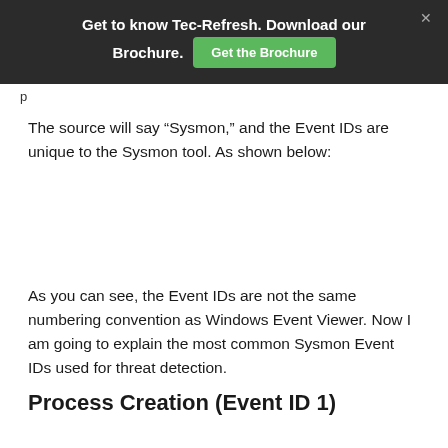Get to know Tec-Refresh. Download our Brochure. Get the Brochure
The source will say “Sysmon,” and the Event IDs are unique to the Sysmon tool. As shown below:
As you can see, the Event IDs are not the same numbering convention as Windows Event Viewer. Now I am going to explain the most common Sysmon Event IDs used for threat detection.
Process Creation (Event ID 1)